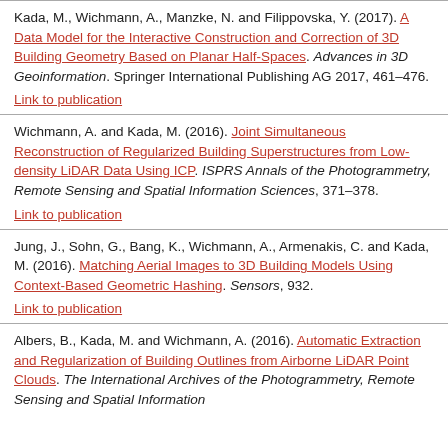Kada, M., Wichmann, A., Manzke, N. and Filippovska, Y. (2017). A Data Model for the Interactive Construction and Correction of 3D Building Geometry Based on Planar Half-Spaces. Advances in 3D Geoinformation. Springer International Publishing AG 2017, 461–476.
Link to publication
Wichmann, A. and Kada, M. (2016). Joint Simultaneous Reconstruction of Regularized Building Superstructures from Low-density LiDAR Data Using ICP. ISPRS Annals of the Photogrammetry, Remote Sensing and Spatial Information Sciences, 371–378.
Link to publication
Jung, J., Sohn, G., Bang, K., Wichmann, A., Armenakis, C. and Kada, M. (2016). Matching Aerial Images to 3D Building Models Using Context-Based Geometric Hashing. Sensors, 932.
Link to publication
Albers, B., Kada, M. and Wichmann, A. (2016). Automatic Extraction and Regularization of Building Outlines from Airborne LiDAR Point Clouds. The International Archives of the Photogrammetry, Remote Sensing and Spatial Information